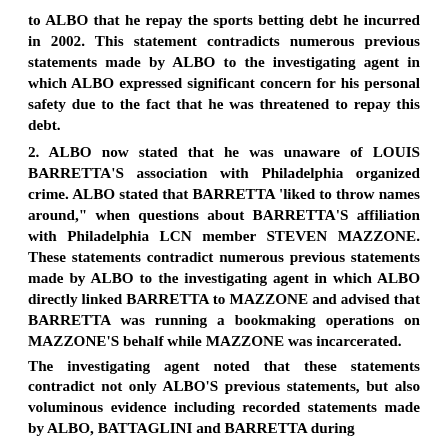to ALBO that he repay the sports betting debt he incurred in 2002. This statement contradicts numerous previous statements made by ALBO to the investigating agent in which ALBO expressed significant concern for his personal safety due to the fact that he was threatened to repay this debt.
2. ALBO now stated that he was unaware of LOUIS BARRETTA'S association with Philadelphia organized crime. ALBO stated that BARRETTA 'liked to throw names around," when questions about BARRETTA'S affiliation with Philadelphia LCN member STEVEN MAZZONE. These statements contradict numerous previous statements made by ALBO to the investigating agent in which ALBO directly linked BARRETTA to MAZZONE and advised that BARRETTA was running a bookmaking operations on MAZZONE'S behalf while MAZZONE was incarcerated.
The investigating agent noted that these statements contradict not only ALBO'S previous statements, but also voluminous evidence including recorded statements made by ALBO, BATTAGLINI and BARRETTA during